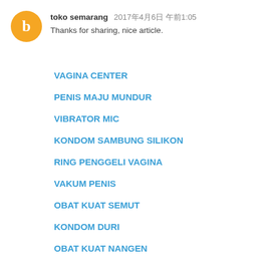toko semarang  2017年4月6日 午前1:05
Thanks for sharing, nice article.
VAGINA CENTER
PENIS MAJU MUNDUR
VIBRATOR MIC
KONDOM SAMBUNG SILIKON
RING PENGGELI VAGINA
VAKUM PENIS
OBAT KUAT SEMUT
KONDOM DURI
OBAT KUAT NANGEN